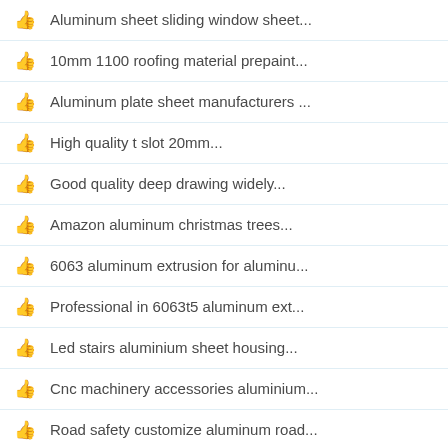Aluminum sheet sliding window sheet...
10mm 1100 roofing material prepaint...
Aluminum plate sheet manufacturers ...
High quality t slot 20mm...
Good quality deep drawing widely...
Amazon aluminum christmas trees...
6063 aluminum extrusion for aluminu...
Professional in 6063t5 aluminum ext...
Led stairs aluminium sheet housing...
Cnc machinery accessories aluminium...
Road safety customize aluminum road...
Aluminum tread plate suppliers...